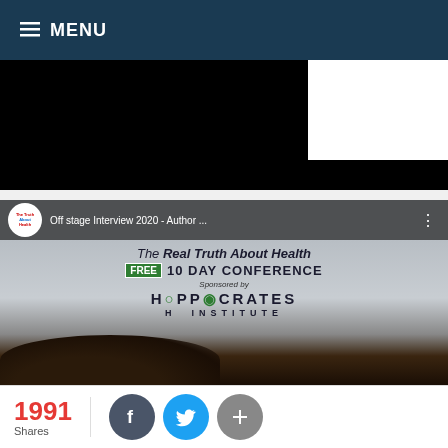≡ MENU
[Figure (screenshot): Black banner/header image area]
[Figure (screenshot): Video thumbnail: Off stage Interview 2020 - Author... The Real Truth About Health FREE 10 DAY CONFERENCE Sponsored by HIPPOCRATES HEALTH INSTITUTE]
1991 Shares